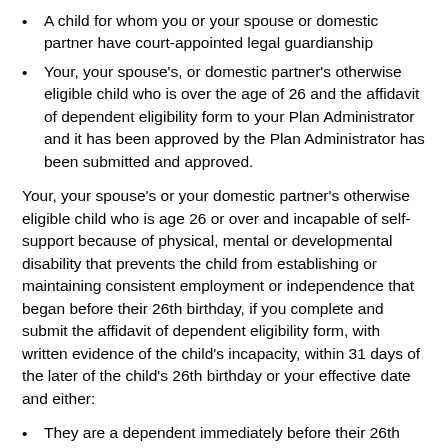A child for whom you or your spouse or domestic partner have court-appointed legal guardianship
Your, your spouse's, or domestic partner's otherwise eligible child who is over the age of 26 and the affidavit of dependent eligibility form to your Plan Administrator and it has been approved by the Plan Administrator has been submitted and approved.
Your, your spouse's or your domestic partner's otherwise eligible child who is age 26 or over and incapable of self-support because of physical, mental or developmental disability that prevents the child from establishing or maintaining consistent employment or independence that began before their 26th birthday, if you complete and submit the affidavit of dependent eligibility form, with written evidence of the child's incapacity, within 31 days of the later of the child's 26th birthday or your effective date and either:
They are a dependent immediately before their 26th birthday